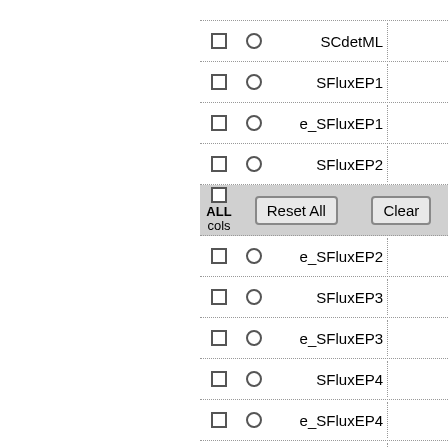[Figure (screenshot): A form/table UI showing rows of checkboxes, radio buttons, field labels (SCdetML, SFluxEP1, e_SFluxEP1, SFluxEP2, e_SFluxEP2, SFluxEP3, e_SFluxEP3, SFluxEP4, e_SFluxEP4, SFluxEP5, e_SFluxEP5), text input fields, and a control row with 'Reset All' and 'Clear' buttons labeled with 'ALL cols'.]